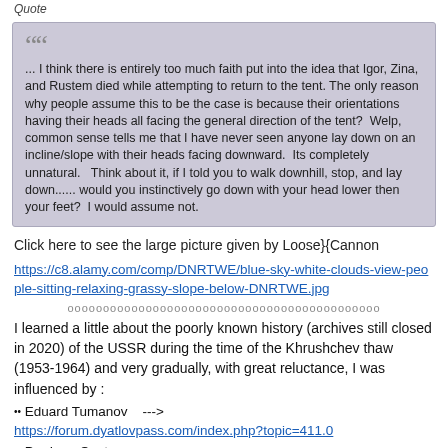Quote
... I think there is entirely too much faith put into the idea that Igor, Zina, and Rustem died while attempting to return to the tent. The only reason why people assume this to be the case is because their orientations having their heads all facing the general direction of the tent?  Welp, common sense tells me that I have never seen anyone lay down on an incline/slope with their heads facing downward.  Its completely unnatural.   Think about it, if I told you to walk downhill, stop, and lay down...... would you instinctively go down with your head lower then your feet?  I would assume not.
Click here to see the large picture given by Loose}{Cannon
https://c8.alamy.com/comp/DNRTWE/blue-sky-white-clouds-view-people-sitting-relaxing-grassy-slope-below-DNRTWE.jpg
oooooooooooooooooooooooooooooooooooooooooooo
I learned a little about the poorly known history (archives still closed in 2020) of the USSR during the time of the Khrushchev thaw (1953-1964) and very gradually, with great reluctance, I was influenced by :
•• Eduard Tumanov    ---> https://forum.dyatlovpass.com/index.php?topic=411.0
•• Per Inge Oestermoen  ---> https://forum.dyatlovpass.com/index.php?action=profile;area=showposts;u=325
•• Nordlander  -->    https://forum.dyatlovpass.com/index.php?